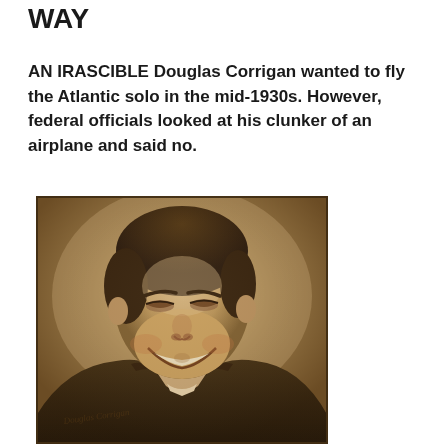WAY
AN IRASCIBLE Douglas Corrigan wanted to fly the Atlantic solo in the mid-1930s. However, federal officials looked at his clunker of an airplane and said no.
[Figure (photo): Sepia-toned portrait photograph of Douglas Corrigan, a young man smiling broadly, wearing a leather jacket and tie. The photo appears to be an autographed publicity shot with a signature in the lower left corner.]